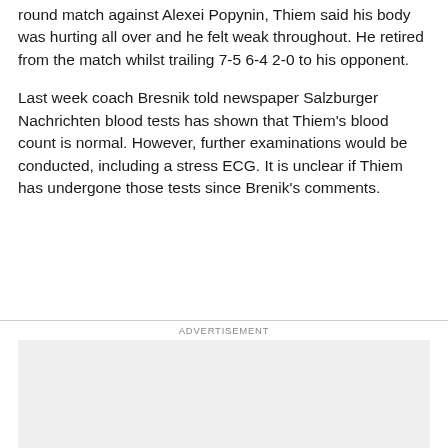round match against Alexei Popynin, Thiem said his body was hurting all over and he felt weak throughout. He retired from the match whilst trailing 7-5 6-4 2-0 to his opponent.
Last week coach Bresnik told newspaper Salzburger Nachrichten blood tests has shown that Thiem's blood count is normal. However, further examinations would be conducted, including a stress ECG. It is unclear if Thiem has undergone those tests since Brenik's comments.
ADVERTISEMENT